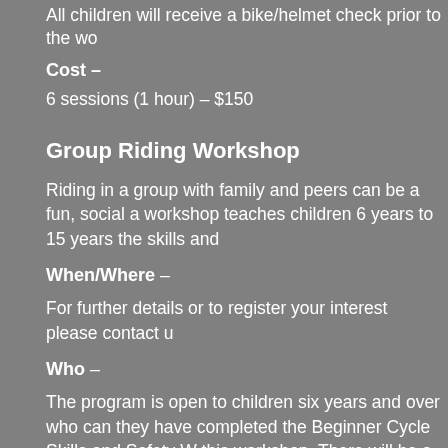All children will receive a bike/helmet check prior to the wo
Cost –
6 sessions (1 hour) – $150
Group Riding Workshop
Riding in a group with family and peers can be a fun, social a workshop teaches children 6 years to 15 years the skills and
When/Where –
For further details or to register your interest please contact u
Who –
The program is open to children six years and over who can they have completed the Beginner Cycle Skills and Safety W this workshop. There will be a maximum of 10 children in eac accredited coaches.